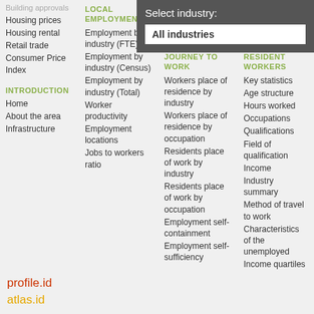Building approvals
Housing prices
Housing rental
Retail trade
Consumer Price Index
INTRODUCTION
Home
About the area
Infrastructure
LOCAL EMPLOYMENT
Employment by industry (FTE)
Employment by industry (Census)
Employment by industry (Total)
Worker productivity
Employment locations
Jobs to workers ratio
Select industry:
All industries
JOURNEY TO WORK
Workers place of residence by industry
Workers place of residence by occupation
Residents place of work by industry
Residents place of work by occupation
Employment self-containment
Employment self-sufficiency
RESIDENT WORKERS
Key statistics
Age structure
Hours worked
Occupations
Qualifications
Field of qualification
Income
Industry summary
Method of travel to work
Characteristics of the unemployed
Income quartiles
TOUR
Tourism sector analysis
Workforce characteristics
Tourism summary
Visitors nights
Visitors reason
profile.id
atlas.id